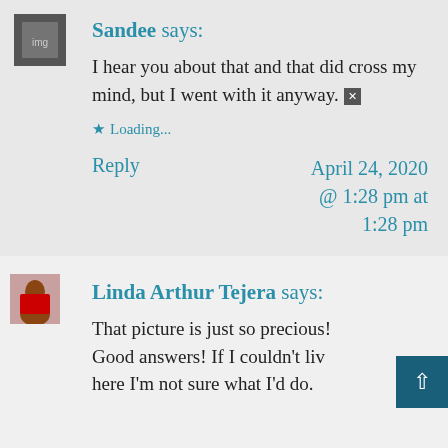Sandee says:
I hear you about that and that did cross my mind, but I went with it anyway. [x]
Loading...
Reply
April 24, 2020 @ 1:28 pm at 1:28 pm
Linda Arthur Tejera says:
That picture is just so precious! Good answers! If I couldn't live here I'm not sure what I'd do.